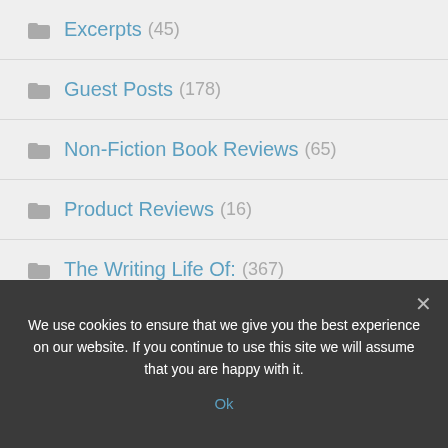Excerpts (45)
Guest Posts (178)
Non-Fiction Book Reviews (65)
Product Reviews (16)
The Writing Life Of: (367)
Whispering Wanders (20)
Writing Tips (35)
We use cookies to ensure that we give you the best experience on our website. If you continue to use this site we will assume that you are happy with it.
Ok